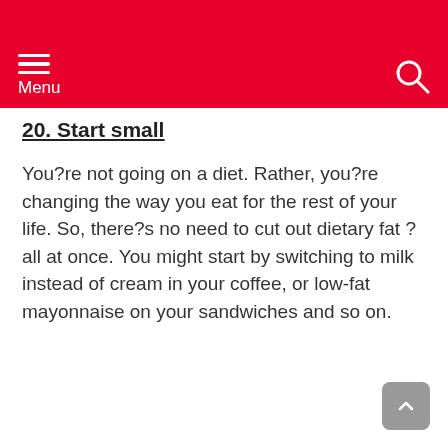Menu
20. Start small
You?re not going on a diet. Rather, you?re changing the way you eat for the rest of your life. So, there?s no need to cut out dietary fat ? all at once. You might start by switching to milk instead of cream in your coffee, or low-fat mayonnaise on your sandwiches and so on.